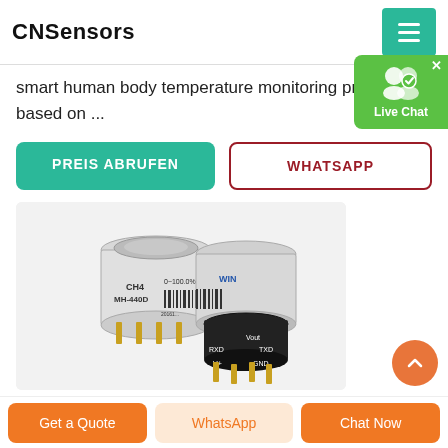CNSensors
smart human body temperature monitoring product based on ...
PREIS ABRUFEN
WHATSAPP
[Figure (photo): Two CH4 MH-440D gas sensor modules (small cylindrical sensors with gold pins and black connector base showing Vout, RXD, TXD, V+, GND labels) on a white background]
Get a Quote
WhatsApp
Chat Now